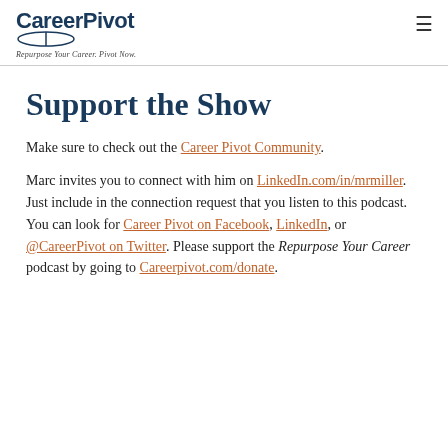CareerPivot — Repurpose Your Career. Pivot Now.
Support the Show
Make sure to check out the Career Pivot Community.
Marc invites you to connect with him on LinkedIn.com/in/mrmiller. Just include in the connection request that you listen to this podcast. You can look for Career Pivot on Facebook, LinkedIn, or @CareerPivot on Twitter. Please support the Repurpose Your Career podcast by going to Careerpivot.com/donate.